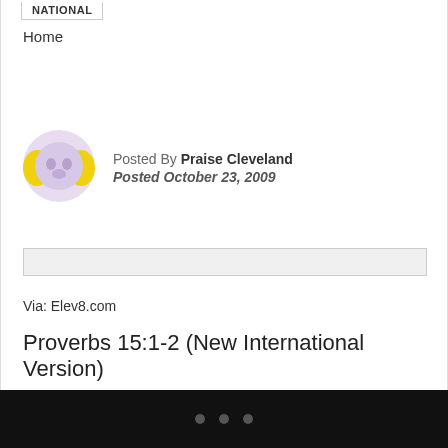NATIONAL
Home
[Figure (illustration): User avatar icon with purple/lavender face and yellow wing-like shapes on sides]
Posted By Praise Cleveland
Posted October 23, 2009
Via: Elev8.com
Proverbs 15:1-2 (New International Version)